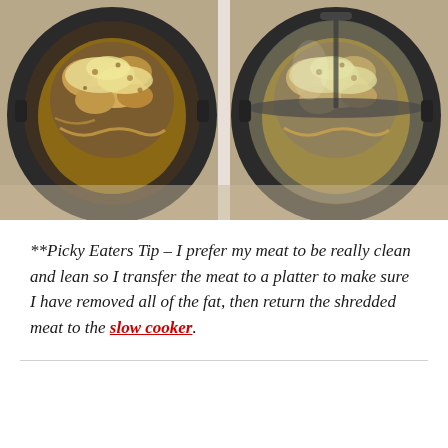[Figure (photo): Two side-by-side photos of slow cookers seen from above, each containing meat topped with mushrooms and crumbled cheese in broth. The left shows the cooker without a lid; the right shows it with a glass lid partially on.]
**Picky Eaters Tip – I prefer my meat to be really clean and lean so I transfer the meat to a platter to make sure I have removed all of the fat, then return the shredded meat to the slow cooker.